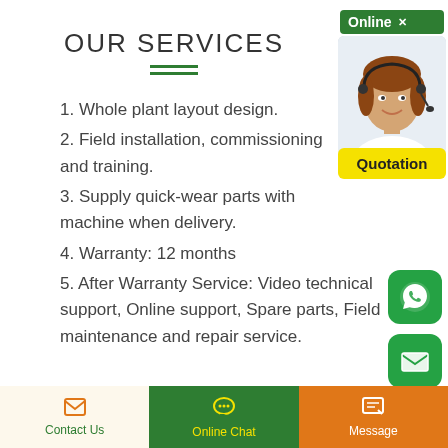OUR SERVICES
1. Whole plant layout design.
2. Field installation, commissioning and training.
3. Supply quick-wear parts with machine when delivery.
4. Warranty: 12 months
5. After Warranty Service: Video technical support, Online support, Spare parts, Field maintenance and repair service.
[Figure (photo): Customer service agent photo with headset, Online badge in green, Quotation button in yellow, WhatsApp icon, Email icon]
Contact Us | Online Chat | Message